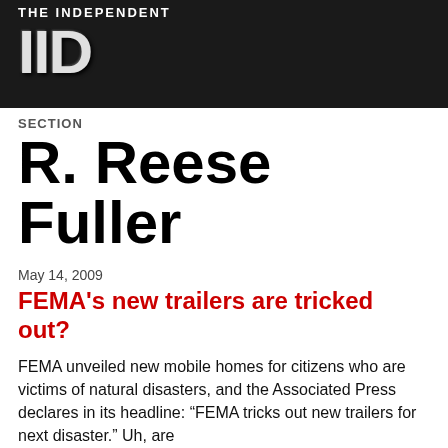[Figure (logo): THE INDEPENDENT logo with large stylized 'IID' letters on dark background]
SECTION
R. Reese Fuller
May 14, 2009
FEMA's new trailers are tricked out?
FEMA unveiled new mobile homes for citizens who are victims of natural disasters, and the Associated Press declares in its headline: “FEMA tricks out new trailers for next disaster.” Uh, are